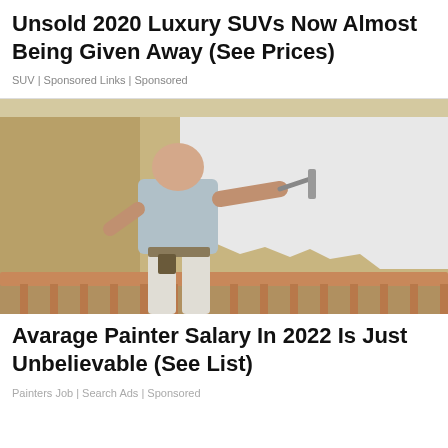Unsold 2020 Luxury SUVs Now Almost Being Given Away (See Prices)
SUV | Sponsored Links | Sponsored
[Figure (photo): A man painting a wall white using a paint roller. He is viewed from behind, wearing a light blue t-shirt and white pants, with painting supplies on his belt. The wall is partially painted white over a tan/gold background. A wooden railing is visible in the foreground.]
Avarage Painter Salary In 2022 Is Just Unbelievable (See List)
Painters Job | Search Ads | Sponsored